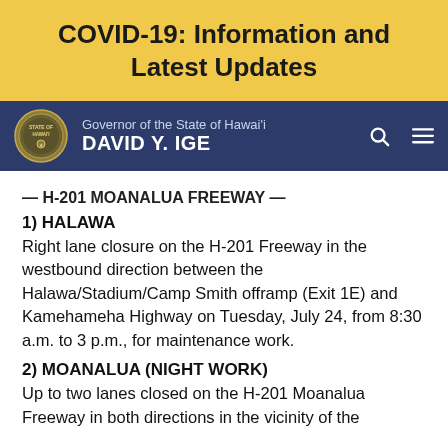COVID-19: Information and Latest Updates
Governor of the State of Hawai'i DAVID Y. IGE
— H-201 MOANALUA FREEWAY —
1) HALAWA
Right lane closure on the H-201 Freeway in the westbound direction between the Halawa/Stadium/Camp Smith offramp (Exit 1E) and Kamehameha Highway on Tuesday, July 24, from 8:30 a.m. to 3 p.m., for maintenance work.
2) MOANALUA (NIGHT WORK)
Up to two lanes closed on the H-201 Moanalua Freeway in both directions in the vicinity of the